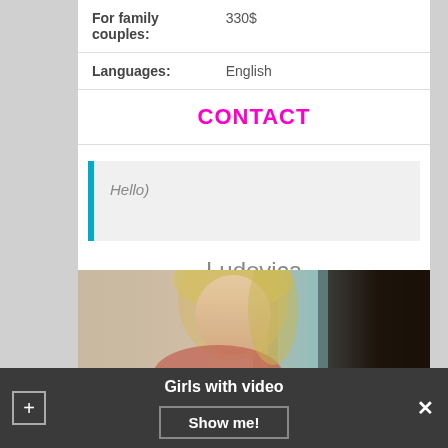| For family couples: | 330$ |
| Languages: | English |
CONTACT
Hello)
Ludovica
[Figure (photo): Portrait photo of a blonde woman]
Girls with video
Show me!